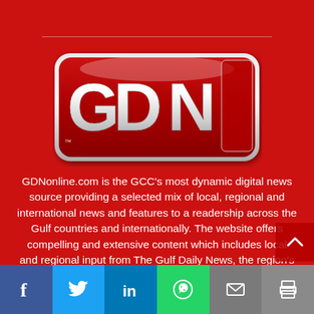[Figure (logo): GDN Online logo - large silver/chrome 3D letters GDN with ONLINE on right side on a red rounded rectangle badge with trademark symbol]
GDNonline.com is the GCC's most dynamic digital news source providing a selected mix of local, regional and international news and features to a readership across the Gulf countries and internationally. The website offers compelling and extensive content which includes local and regional input from The Gulf Daily News, the region's oldest daily newspaper. GDNonline provides the paper's readers with an extensive online edition adapted to be accessed on all available technological platforms.
[Figure (infographic): Bottom social media bar with Facebook (blue), Twitter (light blue), LinkedIn (dark blue), WhatsApp (green), Email (gray), Print (gray) icons]